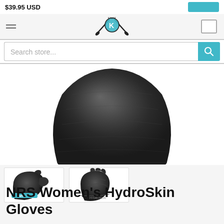$39.95 USD
[Figure (logo): Kayak store logo with paddles and blue kayak icon]
[Figure (screenshot): Search store input field with teal search button]
[Figure (photo): Main product image showing dark grey/black garment (glove neck area) on white background]
[Figure (photo): Two thumbnail images of NRS Women's HydroSkin Gloves - left glove with teal band, right glove back view, both black]
NRS Women's HydroSkin Gloves